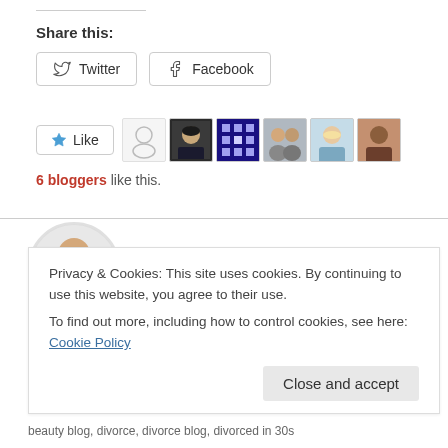Share this:
[Figure (infographic): Twitter and Facebook share buttons]
[Figure (infographic): Like button with 6 blogger avatar thumbnails]
6 bloggers like this.
[Figure (photo): Circular author profile photo of Natalie Alvarado]
Published by Natalie Alvarado
Privacy & Cookies: This site uses cookies. By continuing to use this website, you agree to their use.
To find out more, including how to control cookies, see here: Cookie Policy
Close and accept
beauty blog, divorce, divorce blog, divorced in 30s